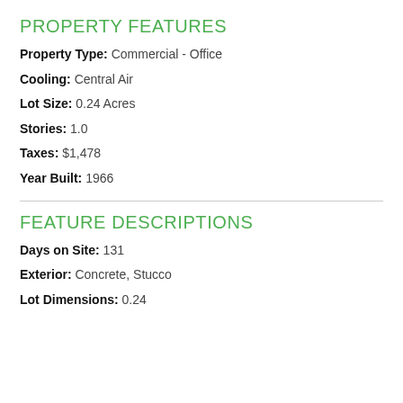PROPERTY FEATURES
Property Type: Commercial - Office
Cooling: Central Air
Lot Size: 0.24 Acres
Stories: 1.0
Taxes: $1,478
Year Built: 1966
FEATURE DESCRIPTIONS
Days on Site: 131
Exterior: Concrete, Stucco
Lot Dimensions: 0.24